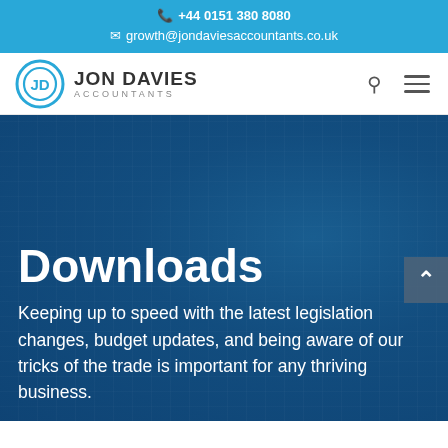📞 +44 0151 380 8080
✉ growth@jondaviesaccountants.co.uk
[Figure (logo): Jon Davies Accountants logo: circular JD monogram in blue with company name]
Downloads
Keeping up to speed with the latest legislation changes, budget updates, and being aware of our tricks of the trade is important for any thriving business.